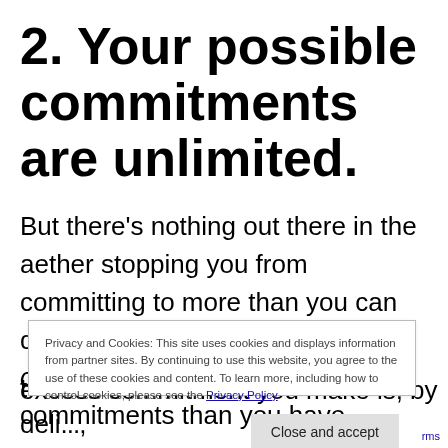2. Your possible commitments are unlimited.
But there’s nothing out there in the aether stopping you from committing to more than you can do in the hours you have. So you can very easily make more commitments than you have t
Privacy and Cookies: This site uses cookies and displays information from partner sites. By continuing to use this website, you agree to the use of these cookies and content. To learn more, including how to control cookies, please see the Privacy Policy
Close and accept
excess commitment you make is, by deli...
rms